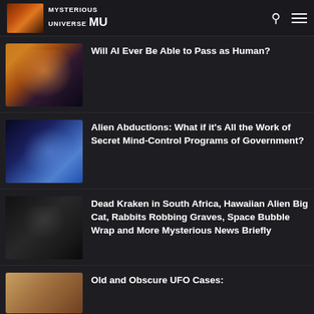Mysterious Universe
Will AI Ever Be Able to Pass as Human?
Alien Abductions: What if it's All the Work of Secret Mind-Control Programs of Government?
Dead Kraken in South Africa, Hawaiian Alien Big Cat, Rabbits Robbing Graves, Space Bubble Wrap and More Mysterious News Briefly
Old and Obscure UFO Cases: